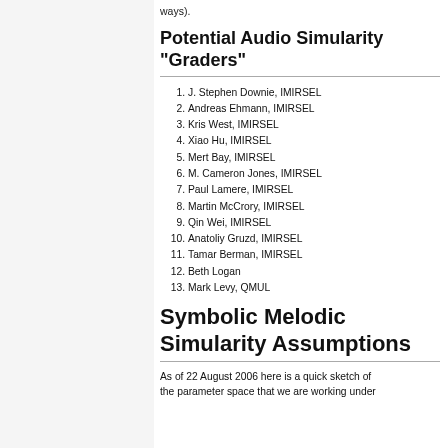ways).
Potential Audio Simularity "Graders"
1. J. Stephen Downie, IMIRSEL
2. Andreas Ehmann, IMIRSEL
3. Kris West, IMIRSEL
4. Xiao Hu, IMIRSEL
5. Mert Bay, IMIRSEL
6. M. Cameron Jones, IMIRSEL
7. Paul Lamere, IMIRSEL
8. Martin McCrory, IMIRSEL
9. Qin Wei, IMIRSEL
10. Anatoliy Gruzd, IMIRSEL
11. Tamar Berman, IMIRSEL
12. Beth Logan
13. Mark Levy, QMUL
Symbolic Melodic Simularity Assumptions
As of 22 August 2006 here is a quick sketch of the parameter space that we are working under